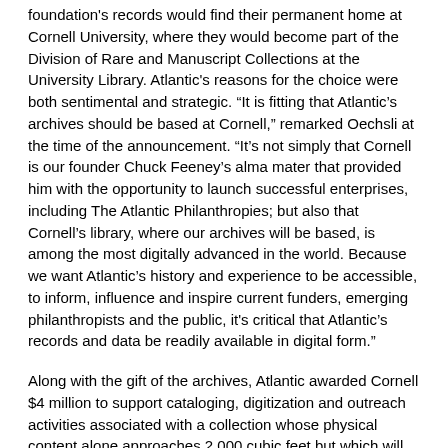foundation's records would find their permanent home at Cornell University, where they would become part of the Division of Rare and Manuscript Collections at the University Library. Atlantic's reasons for the choice were both sentimental and strategic. “It is fitting that Atlantic’s archives should be based at Cornell,” remarked Oechsli at the time of the announcement. “It’s not simply that Cornell is our founder Chuck Feeney’s alma mater that provided him with the opportunity to launch successful enterprises, including The Atlantic Philanthropies; but also that Cornell’s library, where our archives will be based, is among the most digitally advanced in the world. Because we want Atlantic’s history and experience to be accessible, to inform, influence and inspire current funders, emerging philanthropists and the public, it's critical that Atlantic’s records and data be readily available in digital form.”
Along with the gift of the archives, Atlantic awarded Cornell $4 million to support cataloging, digitization and outreach activities associated with a collection whose physical content alone approaches 2,000 cubic feet but which will also include the electronic records of a grantmaking program spanning 35 years and eight major geographic areas. Cornell Archives staff will facilitate direct, physical access to Atlantic content in Ithaca for researchers; curate and mine the most salient information from and about Atlantic; and promote storytelling with key selected audiences over the next decade. Over the next several years, Atlantic’s website and social media platforms will also be transferred to Cornell